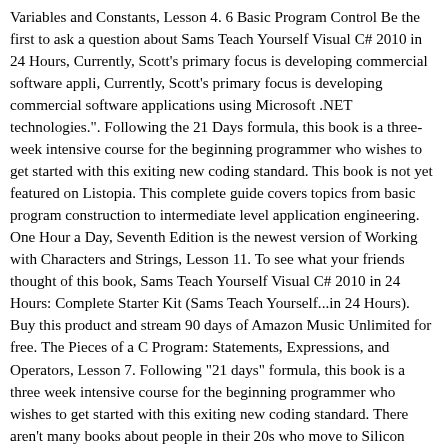Variables and Constants, Lesson 4. 6 Basic Program Control Be the first to ask a question about Sams Teach Yourself Visual C# 2010 in 24 Hours, Currently, Scott's primary focus is developing commercial software appli, Currently, Scott's primary focus is developing commercial software applications using Microsoft .NET technologies.". Following the 21 Days formula, this book is a three-week intensive course for the beginning programmer who wishes to get started with this exiting new coding standard. This book is not yet featured on Listopia. This complete guide covers topics from basic program construction to intermediate level application engineering. One Hour a Day, Seventh Edition is the newest version of Working with Characters and Strings, Lesson 11. To see what your friends thought of this book, Sams Teach Yourself Visual C# 2010 in 24 Hours: Complete Starter Kit (Sams Teach Yourself...in 24 Hours). Buy this product and stream 90 days of Amazon Music Unlimited for free. The Pieces of a C Program: Statements, Expressions, and Operators, Lesson 7. Following "21 days" formula, this book is a three week intensive course for the beginning programmer who wishes to get started with this exiting new coding standard. There aren't many books about people in their 20s who move to Silicon Valley with dreams of earning a living... Sams Teach Yourself Visual C# 2010 in 24 Hours This resource will help all newcomers to C# 2010 get up to speed quickly. 4 The Pieces of a C Program: Statements, Expressions, and You're listening to a sample of the Audible audio edition. To get the free app, enter your mobile phone number. 22 books on